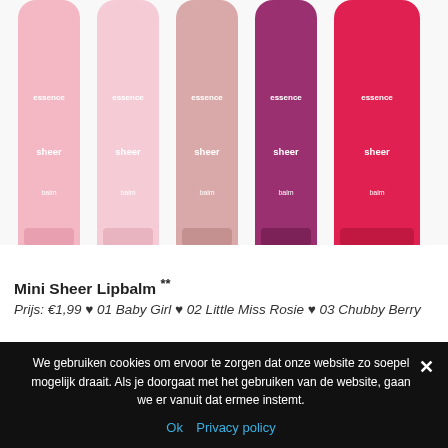[Figure (photo): Five Mini Sheer Lipbalm sticks in varying shades from light pink to deep red/magenta, shown vertically. Bottom portions visible with 'essence sheer balm' text on each stick.]
Mini Sheer Lipbalm **
Prijs: €1,99 ♥ 01 Baby Girl ♥ 02 Little Miss Rosie ♥ 03 Chubby Berry
♥ 04 I Am Charming
[Figure (photo): Four essence lip balm tubes in pink/magenta shades with swirling pattern, partially cropped at bottom.]
We gebruiken cookies om ervoor te zorgen dat onze website zo soepel mogelijk draait. Als je doorgaat met het gebruiken van de website, gaan we er vanuit dat ermee instemt.
Ok  Privacy policy